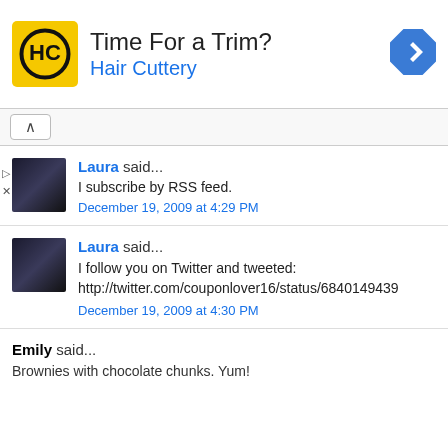[Figure (advertisement): Hair Cuttery ad banner with yellow HC logo, text 'Time For a Trim?' and 'Hair Cuttery', and a blue diamond navigation icon on the right]
Laura said... I subscribe by RSS feed. December 19, 2009 at 4:29 PM
Laura said... I follow you on Twitter and tweeted: http://twitter.com/couponlover16/status/6840149439 December 19, 2009 at 4:30 PM
Emily said... Brownies with chocolate chunks. Yum!